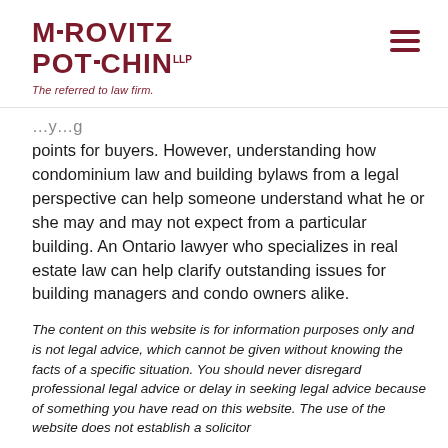MEROVITZ POTECHIN LLP — The referred to law firm.
points for buyers. However, understanding how condominium law and building bylaws from a legal perspective can help someone understand what he or she may and may not expect from a particular building. An Ontario lawyer who specializes in real estate law can help clarify outstanding issues for building managers and condo owners alike.
The content on this website is for information purposes only and is not legal advice, which cannot be given without knowing the facts of a specific situation. You should never disregard professional legal advice or delay in seeking legal advice because of something you have read on this website. The use of the website does not establish a solicitor